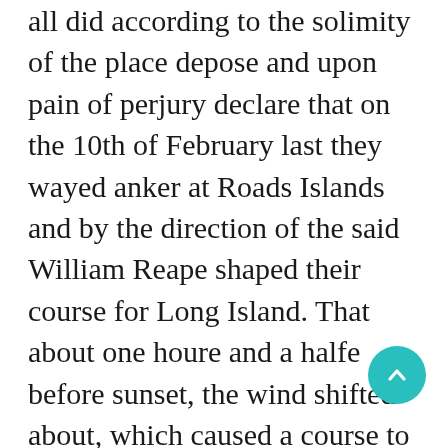all did according to the solimity of the place depose and upon pain of perjury declare that on the 10th of February last they wayed anker at Roads Islands and by the direction of the said William Reape shaped their course for Long Island. That about one houre and a halfe before sunset, the wind shifted about, which caused a course to be shaped for New London. That about halfe and houre after, and about three miles from Fishers Island, the said ship stuck fast upon a Rock, where she did beat all the night long. That at the first striking, all the seamen were so dismayed, that immediately John Jennings the chief